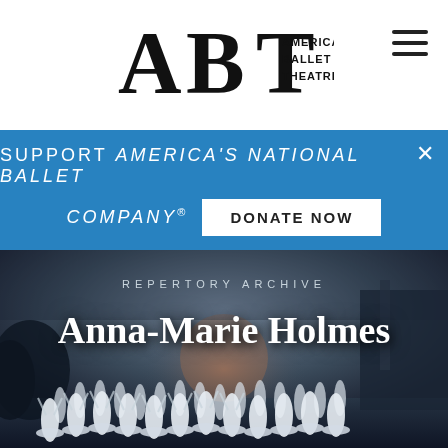[Figure (logo): ABT American Ballet Theatre logo in black serif font]
SUPPORT AMERICA'S NATIONAL BALLET COMPANY® DONATE NOW
[Figure (photo): Ballet performance photo showing many dancers in white tutus on a dramatic stage with atmospheric blue lighting]
REPERTORY ARCHIVE
Anna-Marie Holmes